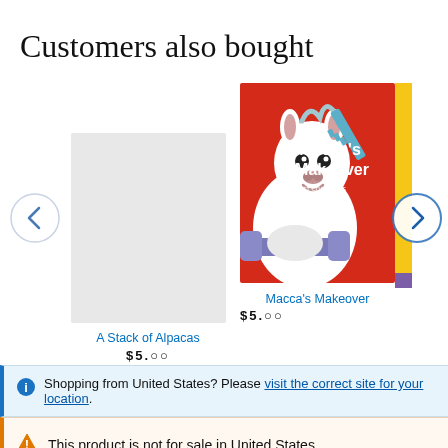Customers also bought
[Figure (screenshot): Book carousel showing two books: 'A Stack of Alpacas' (left, partially visible) and 'Macca's Makeover' (right, fully visible with red cover showing a llama/alpaca character with a comb, weights, and the title 'Macca's Makeover' by Matt Cosgrove). Navigation arrows (left < and right >) flank the carousel. Below the books are their titles as blue links and partial prices.]
Shopping from United States? Please visit the correct site for your location.
This product is not for sale in United States.